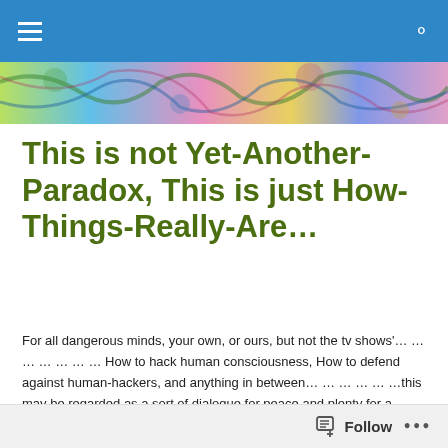[Figure (illustration): Colorful abstract painted banner strip with swirling patterns in green, blue, pink and yellow tones]
This is not Yet-Another-Paradox, This is just How-Things-Really-Are…
For all dangerous minds, your own, or ours, but not the tv shows'… … … … … … … How to hack human consciousness, How to defend against human-hackers, and anything in between… … … … … …this may be regarded as a sort of dialogue for peace and plenty for a hungry planet, with no one left behind, ever… … … … please note: It may behoove you more to try to prove to yourselves how we may really be a time-traveler, than to try to disprove it… … … … … … …Enjoy!
[Figure (illustration): Colorful painted artwork with text 'conscious' visible in yellow-green lettering on decorative background]
Follow